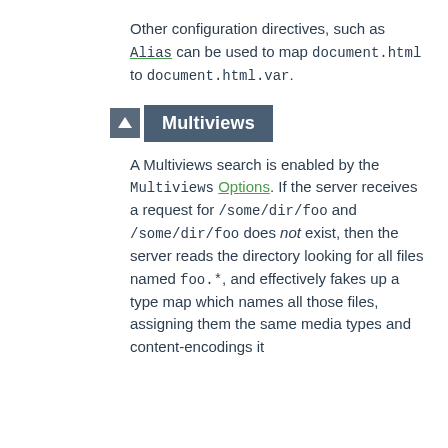Other configuration directives, such as Alias can be used to map document.html to document.html.var.
Multiviews
A Multiviews search is enabled by the Multiviews Options. If the server receives a request for /some/dir/foo and /some/dir/foo does not exist, then the server reads the directory looking for all files named foo.*, and effectively fakes up a type map which names all those files, assigning them the same media types and content-encodings it